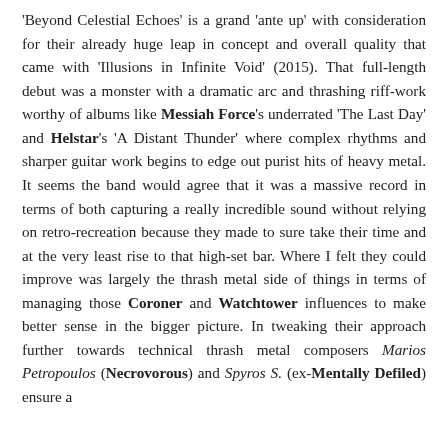'Beyond Celestial Echoes' is a grand 'ante up' with consideration for their already huge leap in concept and overall quality that came with 'Illusions in Infinite Void' (2015). That full-length debut was a monster with a dramatic arc and thrashing riff-work worthy of albums like Messiah Force's underrated 'The Last Day' and Helstar's 'A Distant Thunder' where complex rhythms and sharper guitar work begins to edge out purist hits of heavy metal. It seems the band would agree that it was a massive record in terms of both capturing a really incredible sound without relying on retro-recreation because they made to sure take their time and at the very least rise to that high-set bar. Where I felt they could improve was largely the thrash metal side of things in terms of managing those Coroner and Watchtower influences to make better sense in the bigger picture. In tweaking their approach further towards technical thrash metal composers Marios Petropoulos (Necrovorous) and Spyros S. (ex-Mentally Defiled) ensure a